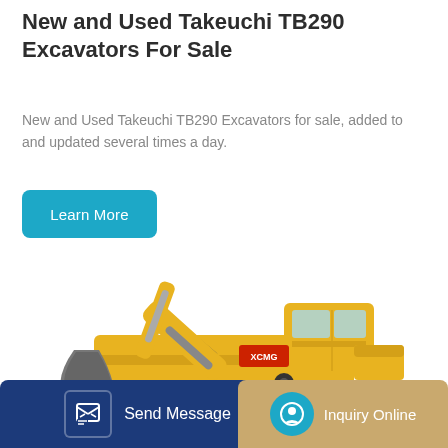New and Used Takeuchi TB290 Excavators For Sale
New and Used Takeuchi TB290 Excavators for sale, added to and updated several times a day.
[Figure (illustration): Yellow and grey excavator (crawler type) with raised boom arm and bucket, photographed on white background]
Learn More
Send Message
Inquiry Online